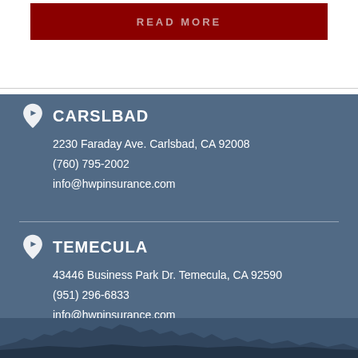READ MORE
CARSLBAD
2230 Faraday Ave. Carlsbad, CA 92008
(760) 795-2002
info@hwpinsurance.com
TEMECULA
43446 Business Park Dr. Temecula, CA 92590
(951) 296-6833
info@hwpinsurance.com